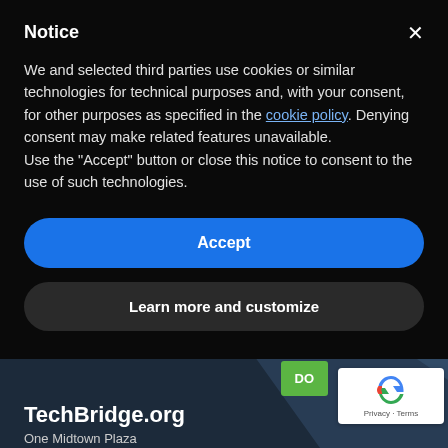Notice
We and selected third parties use cookies or similar technologies for technical purposes and, with your consent, for other purposes as specified in the cookie policy. Denying consent may make related features unavailable.
Use the "Accept" button or close this notice to consent to the use of such technologies.
Accept
Learn more and customize
TechBridge.org
One Midtown Plaza